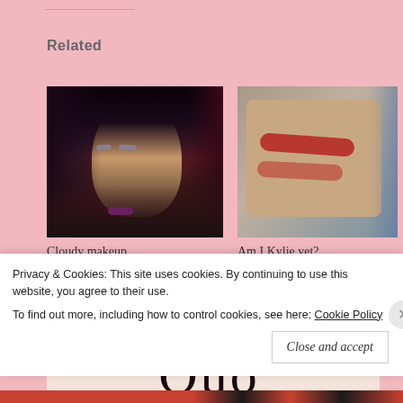Related
[Figure (photo): Photo of a woman with dark hair and purple lipstick, eyes closed, wearing glamorous makeup]
Cloudy makeup
June 8, 2016
In 'Beauty'
[Figure (photo): Photo of an arm with red/coral lip product swatches applied to the skin]
Am I Kylie yet?
October 15, 2014
In 'Beauty'
[Figure (logo): Quo. brand logo with text '2017 HOLIDAY COLLECTION' below]
Privacy & Cookies: This site uses cookies. By continuing to use this website, you agree to their use.
To find out more, including how to control cookies, see here: Cookie Policy